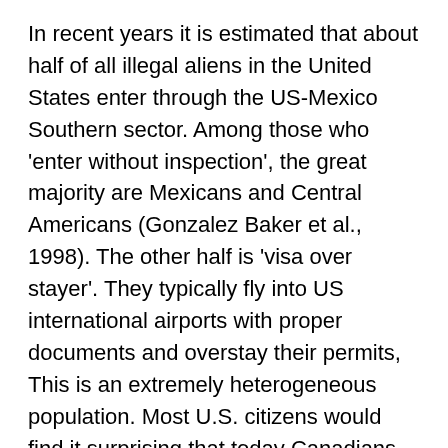In recent years it is estimated that about half of all illegal aliens in the United States enter through the US-Mexico Southern sector. Among those who 'enter without inspection', the great majority are Mexicans and Central Americans (Gonzalez Baker et al., 1998). The other half is 'visa over stayer'. They typically fly into US international airports with proper documents and overstay their permits, This is an extremely heterogeneous population. Most U.S. citizens would find it surprising that today Canadians constitute an important group of illegal immigrants in the USA." [6] According to Pew, just 58% of illegal aliens are from Mexico. [2]
If you're a Republican and still disagree, you may wish to reconsider in light of the politics.  Mitt Romney lost the 2012 election solely on Latino votes, which went 71% for Obama. [7] Asian-Americans, despite being America's